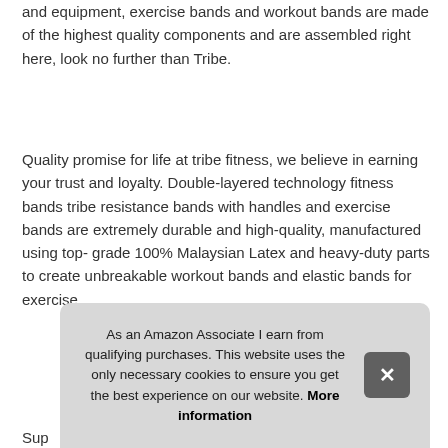and equipment, exercise bands and workout bands are made of the highest quality components and are assembled right here, look no further than Tribe.
Quality promise for life at tribe fitness, we believe in earning your trust and loyalty. Double-layered technology fitness bands tribe resistance bands with handles and exercise bands are extremely durable and high-quality, manufactured using top-grade 100% Malaysian Latex and heavy-duty parts to create unbreakable workout bands and elastic bands for exercise.
More information #ad
Sup set with sna wor.
As an Amazon Associate I earn from qualifying purchases. This website uses the only necessary cookies to ensure you get the best experience on our website. More information